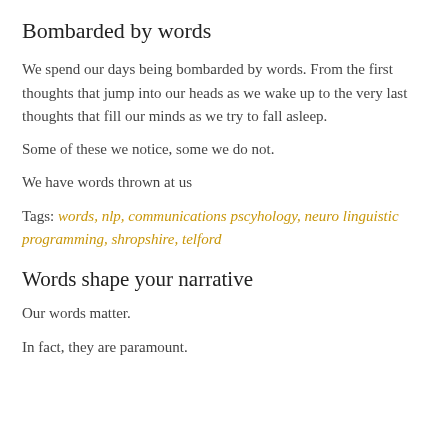Bombarded by words
We spend our days being bombarded by words. From the first thoughts that jump into our heads as we wake up to the very last thoughts that fill our minds as we try to fall asleep.
Some of these we notice, some we do not.
We have words thrown at us
Tags: words, nlp, communications pscyhology, neuro linguistic programming, shropshire, telford
Words shape your narrative
Our words matter.
In fact, they are paramount.